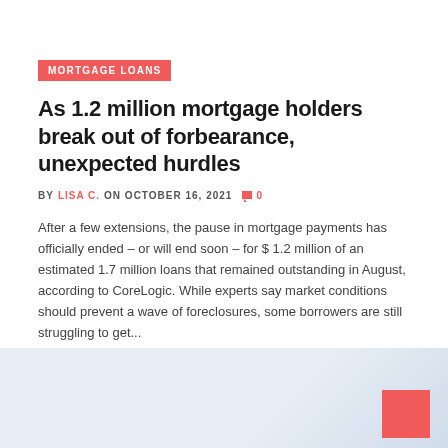MORTGAGE LOANS
As 1.2 million mortgage holders break out of forbearance, unexpected hurdles
BY LISA C. ON OCTOBER 16, 2021  0
After a few extensions, the pause in mortgage payments has officially ended – or will end soon – for $ 1.2 million of an estimated 1.7 million loans that remained outstanding in August, according to CoreLogic. While experts say market conditions should prevent a wave of foreclosures, some borrowers are still struggling to get...
READ MORE
[Figure (photo): Light blue/grey background image at the bottom of the page with a red square in the lower right corner]